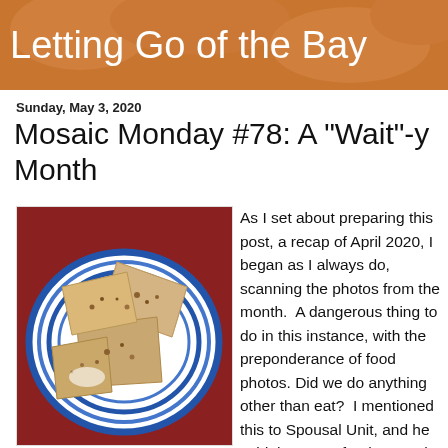Letting Go of the Bay Leaf
Sunday, May 3, 2020
Mosaic Monday #78: A "Wait"-y Month
[Figure (photo): Food photo: pieces of toast or flatbread with crumbled toppings on a blue and white striped plate, placed on a red/brown surface]
As I set about preparing this post, a recap of April 2020, I began as I always do, scanning the photos from the month.  A dangerous thing to do in this instance, with the preponderance of food photos.  Did we do anything other than eat?  I mentioned this to Spousal Unit, and he said the motto for the month was F-A-N - Food + Alcohol + Netflix.  Whatever you call it, I have managed to gain four pounds